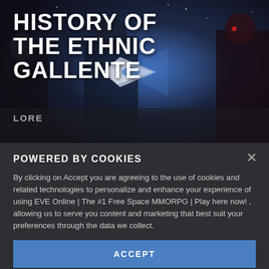[Figure (illustration): Dark sci-fi background image showing futuristic characters/figures in space setting, used as hero banner for EVE Online lore article]
HISTORY OF THE ETHNIC GALLENTE
LORE
POWERED BY COOKIES
By clicking on Accept you are agreeing to the use of cookies and related technologies to personalize and enhance your experience of using EVE Online | The #1 Free Space MMORPG | Play here now! , allowing us to serve you content and marketing that best suit your preferences through the data we collect.
ACCEPT
historical ages used in other documents. The Age of the Ancients is characterized by having poor historical acco...